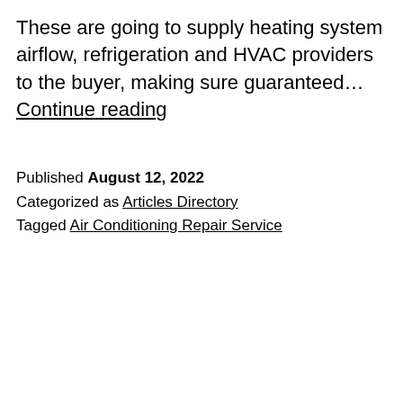These are going to supply heating system airflow, refrigeration and HVAC providers to the buyer, making sure guaranteed… Continue reading
Published August 12, 2022
Categorized as Articles Directory
Tagged Air Conditioning Repair Service